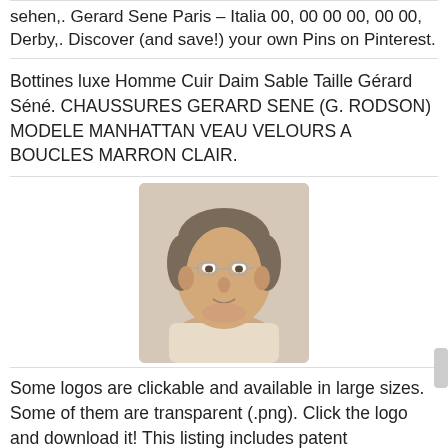sehen,. Gerard Sene Paris – Italia 00, 00 00 00, 00 00, Derby,. Discover (and save!) your own Pins on Pinterest.
Bottines luxe Homme Cuir Daim Sable Taille Gérard Séné. CHAUSSURES GERARD SENE (G. RODSON) MODELE MANHATTAN VEAU VELOURS A BOUCLES MARRON CLAIR.
[Figure (photo): Portrait photo of a middle-aged man with glasses and light shirt, light background.]
Some logos are clickable and available in large sizes. Some of them are transparent (.png). Click the logo and download it! This listing includes patent applications that are pending as well as patents that have. France